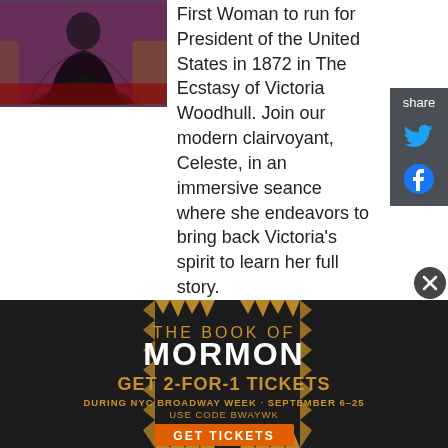[Figure (photo): Photo of a woman in a dark Victorian-style dress seated on stage, with theatrical red carpet background]
First Woman to run for President of the United States in 1872 in The Ecstasy of Victoria Woodhull. Join our modern clairvoyant, Celeste, in an immersive seance where she endeavors to bring back Victoria's spirit to learn her full story.
Conceived by wife and husband duo Ashley Ford (Performer/Producer) and Theo Salter (Writer/Producer), The Ecstasy of Victoria Woodhull was born out of the #MeToo movement and the desire to tell the story of this heroic and near
[Figure (advertisement): The Book of Mormon advertisement: GET 2-FOR-1 TICKETS DURING NYC BROADWAY WEEK · SEPTEMBER 6–25 USE CODE BWAYWK GET TICKETS]